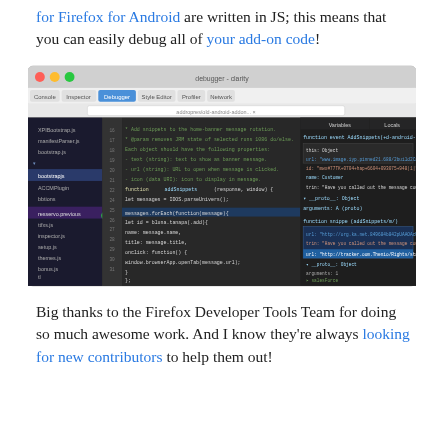for Firefox for Android are written in JS; this means that you can easily debug all of your add-on code!
[Figure (screenshot): Screenshot of Firefox Developer Tools debugger interface showing JavaScript code editor panel on the left with file tree, a central code panel with JS source code, and a right-side panel showing call stack and variables/watch expressions.]
Big thanks to the Firefox Developer Tools Team for doing so much awesome work. And I know they're always looking for new contributors to help them out!